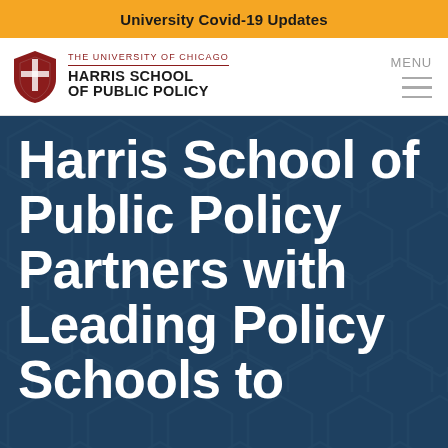University Covid-19 Updates
[Figure (logo): University of Chicago Harris School of Public Policy logo with shield emblem and school name, plus hamburger menu labeled MENU]
Harris School of Public Policy Partners with Leading Policy Schools to